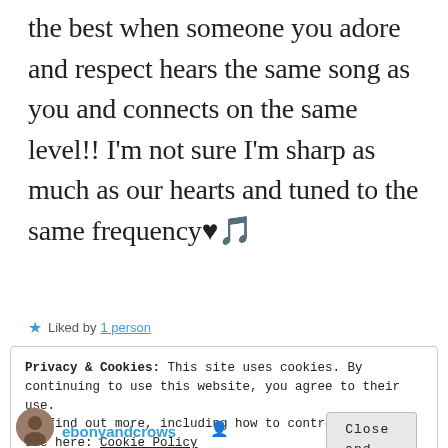the best when someone you adore and respect hears the same song as you and connects on the same level!! I'm not sure I'm sharp as much as our hearts and tuned to the same frequency♥🎵
★ Liked by 1 person
Privacy & Cookies: This site uses cookies. By continuing to use this website, you agree to their use. To find out more, including how to control cookies, see here: Cookie Policy
Close and accept
ebonyandcrows